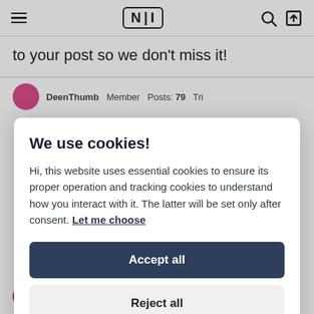NI navigation header with hamburger menu, NI logo, search icon, and login icon
to your post so we don't miss it!
DeenThumb  Member  Posts: 79  Tri
We use cookies!
Hi, this website uses essential cookies to ensure its proper operation and tracking cookies to understand how you interact with it. The latter will be set only after consent. Let me choose
Accept all
Reject all
January 21